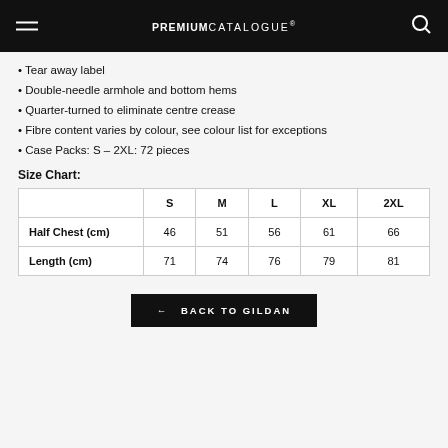PREMIUMCATALOGUE
Tear away label
Double-needle armhole and bottom hems
Quarter-turned to eliminate centre crease
Fibre content varies by colour, see colour list for exceptions
Case Packs: S – 2XL: 72 pieces
Size Chart:
|  | S | M | L | XL | 2XL |
| --- | --- | --- | --- | --- | --- |
| Half Chest (cm) | 46 | 51 | 56 | 61 | 66 |
| Length (cm) | 71 | 74 | 76 | 79 | 81 |
← BACK TO GILDAN